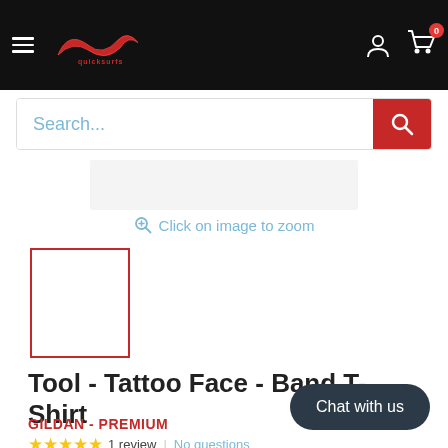Navigation header with hamburger menu, logo, user icon, and cart with 0 items
Search...
Click on image to zoom
[Figure (photo): Product thumbnail placeholder box with red border]
Tool - Tattoo Face - Band T-Shirt
GILDAN - PREMIUM
★★★★★ 1 review | No questions
Chat with us